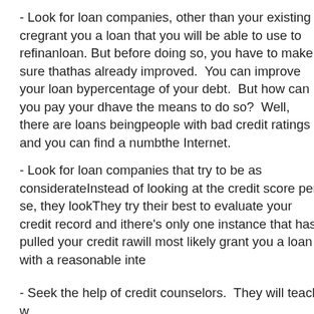- Look for loan companies, other than your existing cre... grant you a loan that you will be able to use to refinan... loan. But before doing so, you have to make sure that... has already improved. You can improve your loan by... percentage of your debt. But how can you pay your d... have the means to do so? Well, there are loans being... people with bad credit ratings and you can find a numb... the Internet.
- Look for loan companies that try to be as considerate... Instead of looking at the credit score per se, they look... They try their best to evaluate your credit record and i... there's only one instance that has pulled your credit ra... will most likely grant you a loan with a reasonable inte...
- Seek the help of credit counselors. They will teach w...